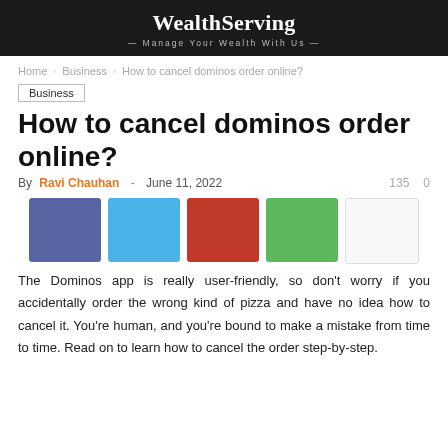WealthServing — Manage Your Wealth With Us —
Home  Business  How to cancel dominos order online?
Business
How to cancel dominos order online?
By Ravi Chauhan - June 11, 2022   135   0
[Figure (infographic): Five social share buttons: Facebook (dark blue), Twitter (light blue), Pinterest (red), WhatsApp (green), and a white share button.]
The Dominos app is really user-friendly, so don't worry if you accidentally order the wrong kind of pizza and have no idea how to cancel it. You're human, and you're bound to make a mistake from time to time. Read on to learn how to cancel the order step-by-step.